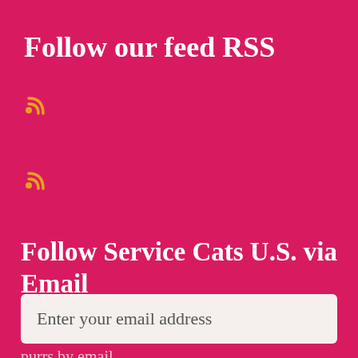Follow our feed RSS
[Figure (other): RSS feed icon (small orange/white RSS symbol)]
[Figure (other): RSS feed icon (small orange/white RSS symbol)]
Follow Service Cats U.S. via Email
Enter your email address to follow Service Cats U.S. and receive notifications of new meows and purrs by email.
Enter your email address